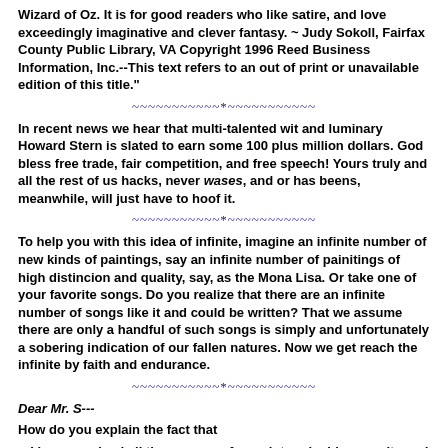Wizard of Oz. It is for good readers who like satire, and love exceedingly imaginative and clever fantasy. ~ Judy Sokoll, Fairfax County Public Library, VA Copyright 1996 Reed Business Information, Inc.--This text refers to an out of print or unavailable edition of this title."
~~~~~~~~~~~*~~~~~~~~~~~
In recent news we hear that multi-talented wit and luminary Howard Stern is slated to earn some 100 plus million dollars. God bless free trade, fair competition, and free speech! Yours truly and all the rest of us hacks, never wases, and or has beens, meanwhile, will just have to hoof it.
~~~~~~~~~~~*~~~~~~~~~~~
To help you with this idea of infinite, imagine an infinite number of new kinds of paintings, say an infinite number of painitings of high distincion and quality, say, as the Mona Lisa. Or take one of your favorite songs. Do you realize that there are an infinite number of songs like it and could be written? That we assume there are only a handful of such songs is simply and unfortunately a sobering indication of our fallen natures. Now we get reach the infinite by faith and endurance.
~~~~~~~~~~~*~~~~~~~~~~~
Dear Mr. S---
How do you explain the fact that
-- I have survived all these years of your interminable assaults and abuse, indeed fought off your gang single-handedly, alone, mostly broke, and with a handicap (i.e. your brain torture radios)?